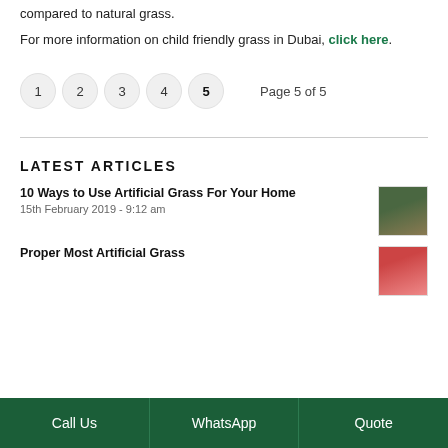compared to natural grass.
For more information on child friendly grass in Dubai, click here.
1  2  3  4  5   Page 5 of 5
LATEST ARTICLES
10 Ways to Use Artificial Grass For Your Home
15th February 2019 - 9:12 am
Proper Most Artificial Grass
Call Us  |  WhatsApp  |  Quote